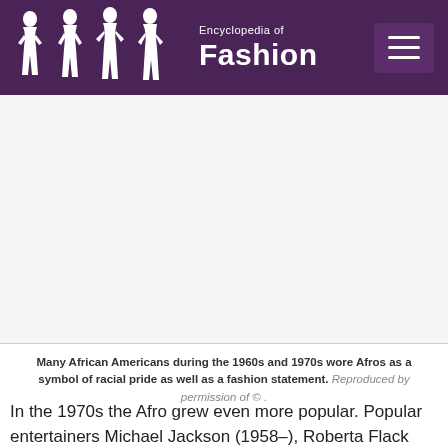Encyclopedia of Fashion
[Figure (photo): Blank/advertisement image area below the Encyclopedia of Fashion header]
Many African Americans during the 1960s and 1970s wore Afros as a symbol of racial pride as well as a fashion statement. Reproduced by permission of © .
In the 1970s the Afro grew even more popular. Popular entertainers Michael Jackson (1958–), Roberta Flack (1939–), and Richard Roundtree (1942–), and sports icons Julius